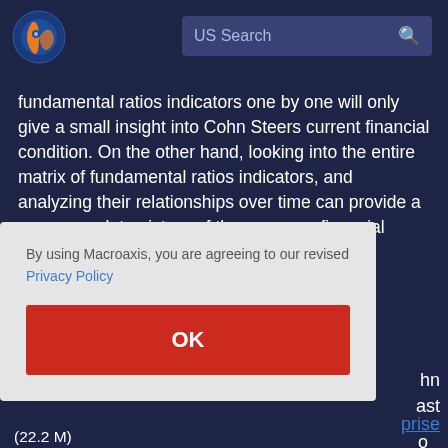[Figure (logo): Macroaxis globe logo — orange and blue circular icon]
US Search
fundamental ratios indicators one by one will only give a small insight into Cohn Steers current financial condition. On the other hand, looking into the entire matrix of fundamental ratios indicators, and analyzing their relationships over time can provide a more complete picture of the company financial strength now
By using Macroaxis, you are agreeing to our revised Privacy Policy
OK
hn
ast
prise
o
(22.2 M)